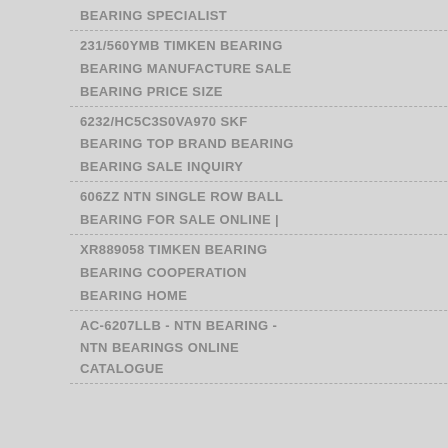BEARING SPECIALIST
231/560YMB TIMKEN BEARING
BEARING MANUFACTURE SALE
BEARING PRICE SIZE
6232/HC5C3S0VA970 SKF
BEARING TOP BRAND BEARING
BEARING SALE INQUIRY
606ZZ NTN SINGLE ROW BALL
BEARING FOR SALE ONLINE |
XR889058 TIMKEN BEARING
BEARING COOPERATION
BEARING HOME
AC-6207LLB - NTN BEARING - NTN BEARINGS ONLINE CATALOGUE
7902UG/GMP42/L606Q1 NTN D
online
7904CG/GMP4/15KQTQ NTN De
[Figure (photo): Warehouse interior with boxes/crates and a customer service representative wearing a headset overlay, with 24/7 Online badge and Quotation button]
OUR
FACTORY
HNAN K...